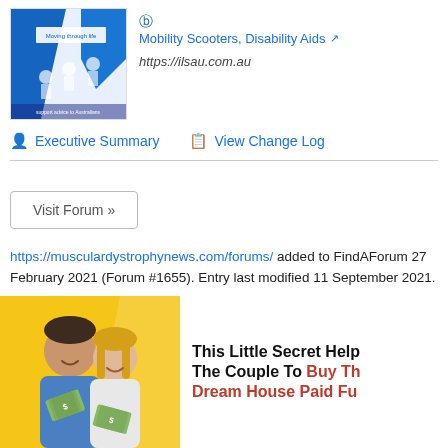[Figure (screenshot): Website thumbnail for ilsau.com.au showing a blue and white design with text 'Moving through life' and images of mobility scooters and disabled aids users]
Mobility Scooters, Disability Aids
https://ilsau.com.au
Executive Summary    View Change Log
Visit Forum »
https://musculardystrophynews.com/forums/ added to FindAForum 27 February 2021 (Forum #1655). Entry last modified 11 September 2021.
[Figure (photo): Advertisement banner showing a young couple holding money on yellow background, with text: This Little Secret Help The Couple To Buy Th... Dream House Paid Fu...]